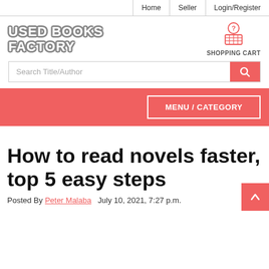Home | Seller | Login/Register
[Figure (logo): Used Books Factory logo with stylized text and shopping cart icon]
SHOPPING CART
Search Title/Author
MENU / CATEGORY
How to read novels faster, top 5 easy steps
Posted By Peter Malaba  July 10, 2021, 7:27 p.m.